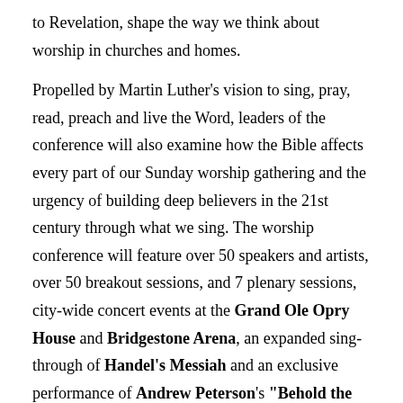to Revelation, shape the way we think about worship in churches and homes.
Propelled by Martin Luther's vision to sing, pray, read, preach and live the Word, leaders of the conference will also examine how the Bible affects every part of our Sunday worship gathering and the urgency of building deep believers in the 21st century through what we sing. The worship conference will feature over 50 speakers and artists, over 50 breakout sessions, and 7 plenary sessions, city-wide concert events at the Grand Ole Opry House and Bridgestone Arena, an expanded sing-through of Handel's Messiah and an exclusive performance of Andrew Peterson's "Behold the Lamb of God."
Speakers include Keith & Kristyn Getty, Joni Eareckson Tada, David Platt, Ravi Zacharias, Sally Lloyd Jones, Trip Lee, John Lennox, Andrew Peterson, H.B. Charles, Os Guinness, Tim Challies, Joel Beeke, Phil Vischer, Jordan